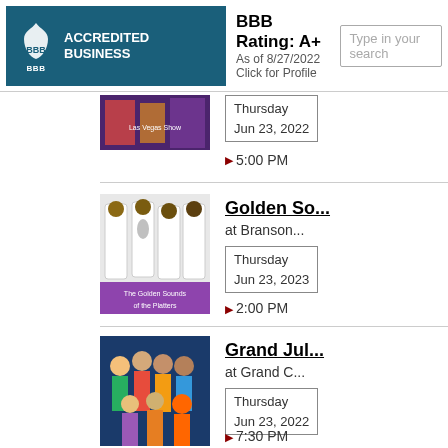[Figure (logo): BBB Accredited Business badge with teal background, BBB emblem and text 'ACCREDITED BUSINESS']
BBB Rating: A+
As of 8/27/2022
Click for Profile
Type in your search
[Figure (photo): Partial thumbnail of a Las Vegas themed show image]
Thursday
Jun 23, 2022
▶ 5:00 PM
[Figure (photo): The Golden Sounds of the Platters - group photo of performers in white suits]
Golden So...
at Branson...
Thursday
Jun 23, 2023
▶ 2:00 PM
[Figure (photo): Grand Jubilee - group photo of performers]
Grand Jul...
at Grand C...
Thursday
Jun 23, 2022
▶ 7:30 PM